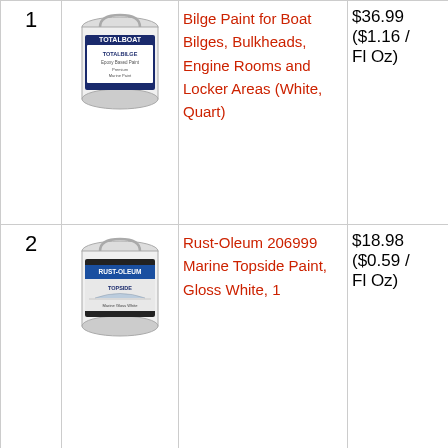| # | Image | Product | Price | Action |
| --- | --- | --- | --- | --- |
| 1 | [TotalBoat Bilge Paint image] | Bilge Paint for Boat Bilges, Bulkheads, Engine Rooms and Locker Areas (White, Quart) | $36.99 ($1.16 / Fl Oz) | Buy Ama |
| 2 | [Rust-Oleum Topside Paint image] | Rust-Oleum 206999 Marine Topside Paint, Gloss White, 1 | $18.98 ($0.59 / Fl Oz) | Buy Ama |